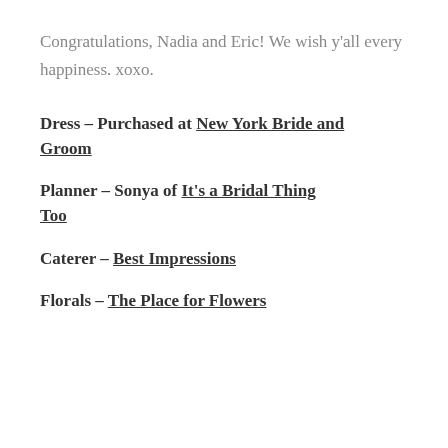Congratulations, Nadia and Eric! We wish y'all every happiness. xoxo.
Dress – Purchased at New York Bride and Groom
Planner – Sonya of It's a Bridal Thing Too
Caterer – Best Impressions
Florals – The Place for Flowers